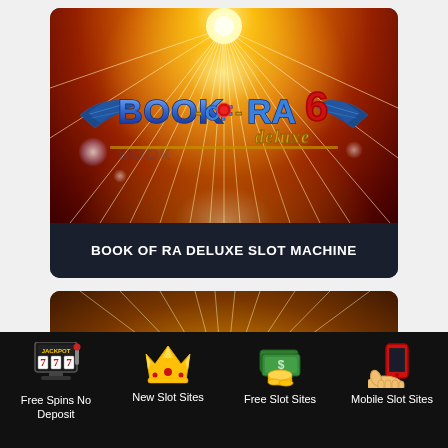[Figure (screenshot): Book of Ra 6 Deluxe slot machine game card with orange/red radial light burst background and stylized game logo]
BOOK OF RA DELUXE SLOT MACHINE
[Figure (screenshot): Second slot machine game card with golden/amber radial light burst background, partially visible]
[Figure (infographic): Bottom navigation bar with four icons: slot machine jackpot icon, crown icon, money/cash icon, mobile phone icon]
Free Spins No Deposit
New Slot Sites
Free Slot Sites
Mobile Slot Sites